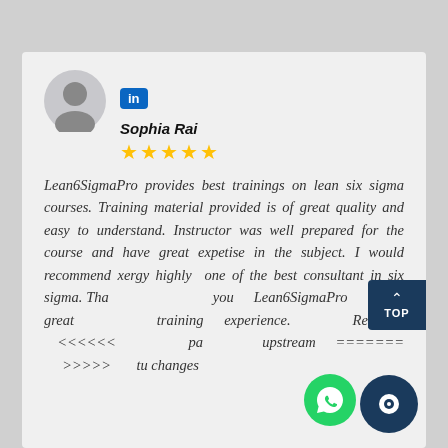[Figure (illustration): User avatar circle icon — grey silhouette of a person on light grey background]
[Figure (logo): LinkedIn 'in' badge — white 'in' text on blue rounded square background]
Sophia Rai
[Figure (illustration): Five gold star rating icons]
Lean6SigmaPro provides best trainings on lean six sigma courses. Training material provided is of great quality and easy to understand. Instructor was well prepared for the course and have great expetise in the subject. I would recommend xergy highly one of the best consultant in six sigma. Tha you Lean6SigmaPro for great training experience. Regards. <<<<<<  upstream ======= >>>>> tu changes